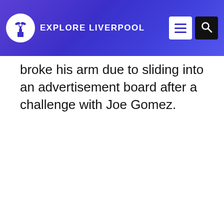EXPLORE LIVERPOOL
broke his arm due to sliding into an advertisement board after a challenge with Joe Gomez.